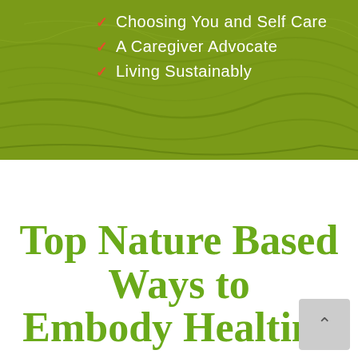[Figure (photo): Green textured background banner with nature-inspired leaf/grass texture]
Choosing You and Self Care
A Caregiver Advocate
Living Sustainably
Top Nature Based Ways to Embody Healting